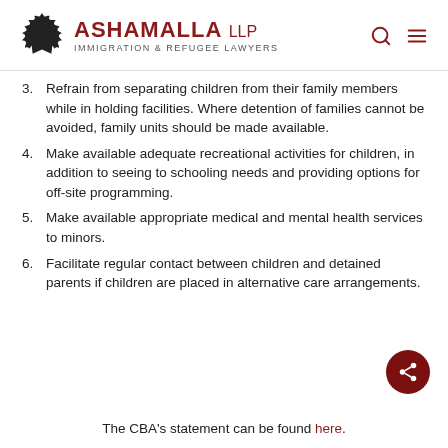ASHAMALLA LLP Immigration & Refugee Lawyers
3. Refrain from separating children from their family members while in holding facilities. Where detention of families cannot be avoided, family units should be made available.
4. Make available adequate recreational activities for children, in addition to seeing to schooling needs and providing options for off-site programming.
5. Make available appropriate medical and mental health services to minors.
6. Facilitate regular contact between children and detained parents if children are placed in alternative care arrangements.
The CBA's statement can be found here.